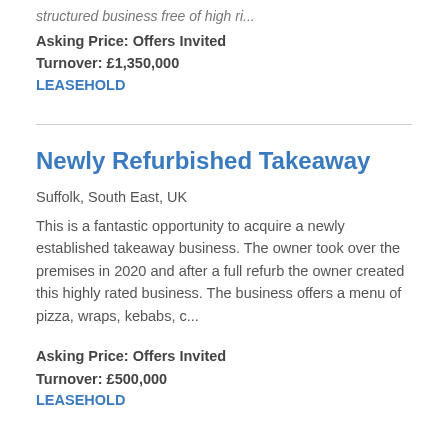structured business free of high ri...
Asking Price: Offers Invited
Turnover: £1,350,000
LEASEHOLD
Newly Refurbished Takeaway
Suffolk, South East, UK
This is a fantastic opportunity to acquire a newly established takeaway business. The owner took over the premises in 2020 and after a full refurb the owner created this highly rated business. The business offers a menu of pizza, wraps, kebabs, c...
Asking Price: Offers Invited
Turnover: £500,000
LEASEHOLD